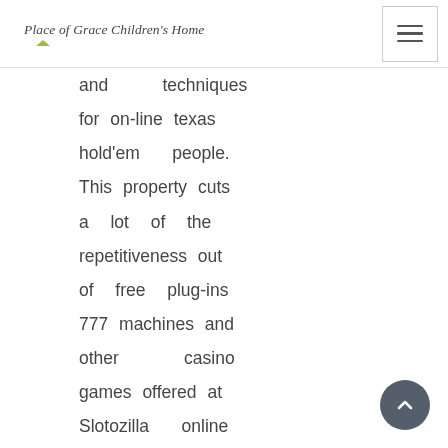Place of Grace Children's Home
and techniques for on-line texas hold'em people. This property cuts a lot of the repetitiveness out of free plug-ins 777 machines and other casino games offered at Slotozilla online for someone who wants to get straight to the big